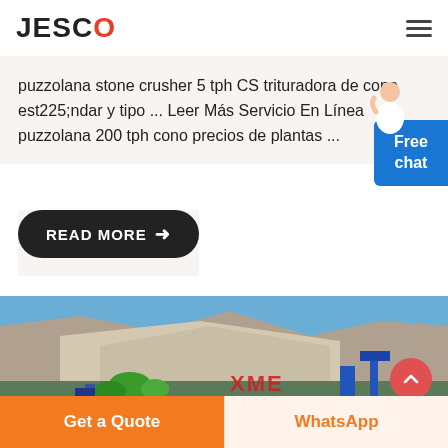JESCO
puzzolana stone crusher 5 tph CS trituradora de cono est225;ndar y tipo ... Leer Más Servicio En Línea puzzolana 200 tph cono precios de plantas ...
READ MORE →
[Figure (photo): Quarry/stone crusher site photo with rocky hillside, blue sky, green vegetation, blue machinery, and XME watermark]
Get a Quote
WhatsApp